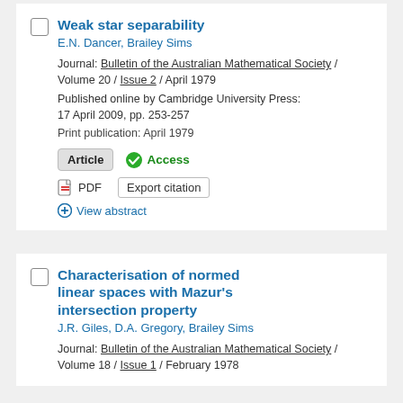Weak star separability
E.N. Dancer, Brailey Sims
Journal: Bulletin of the Australian Mathematical Society / Volume 20 / Issue 2 / April 1979
Published online by Cambridge University Press: 17 April 2009, pp. 253-257
Print publication: April 1979
Article   Access
PDF   Export citation
+ View abstract
Characterisation of normed linear spaces with Mazur's intersection property
J.R. Giles, D.A. Gregory, Brailey Sims
Journal: Bulletin of the Australian Mathematical Society / Volume 18 / Issue 1 / February 1978